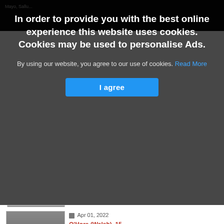[Figure (screenshot): Cookie consent overlay on a news/obituaries website. Dark semi-transparent overlay with white bold text reading 'In order to provide you with the best online experience this website uses cookies. Cookies may be used to personalise Ads.' followed by a sentence with a blue 'Read More' link and a blue 'I agree' button.]
By using our website, you agree to our use of cookies. Read More
I agree
Apr 01, 2022
Claire O'Hora (Walsh), 15 Abbeytown, Crossmolina, Co. Mayo and formerly of Tubridge, Keenagh
Claire O'Hora (Walsh),

15 Abbeytown, Crossmolina, Co. Mayo and formerly

Tubridge,...
Aug 10, 2022
Winifred Judge nee Kearney, Carrownedan, Killasser, Swinford and formerly of Ballymachola, Crossmolina
Winifred Judge nee Kearney,